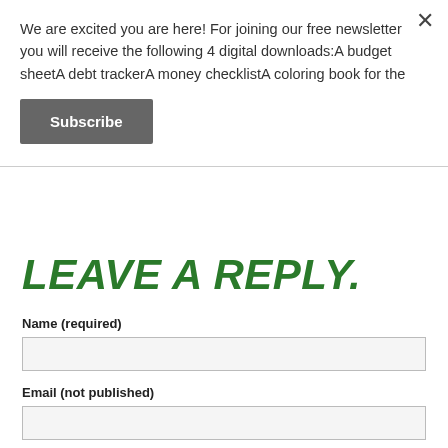We are excited you are here! For joining our free newsletter you will receive the following 4 digital downloads:A budget sheetA debt trackerA money checklistA coloring book for the
Subscribe
LEAVE A REPLY.
Name (required)
Email (not published)